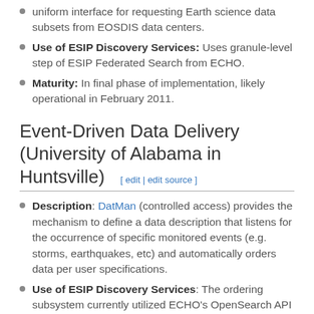uniform interface for requesting Earth science data subsets from EOSDIS data centers.
Use of ESIP Discovery Services: Uses granule-level step of ESIP Federated Search from ECHO.
Maturity: In final phase of implementation, likely operational in February 2011.
Event-Driven Data Delivery (University of Alabama in Huntsville) [ edit | edit source ]
Description: DatMan (controlled access) provides the mechanism to define a data description that listens for the occurrence of specific monitored events (e.g. storms, earthquakes, etc) and automatically orders data per user specifications.
Use of ESIP Discovery Services: The ordering subsystem currently utilized ECHO's OpenSearch API to retrieve the specified data granules.
Maturity: Prototype still in functional development, not yet it